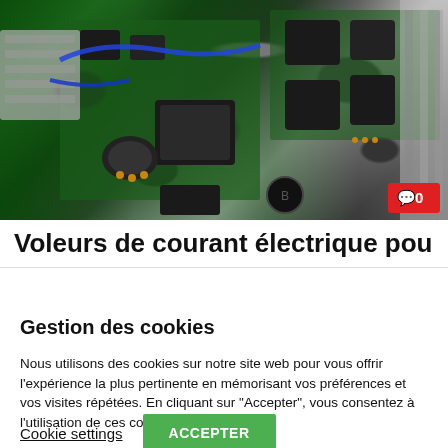[Figure (photo): Top-down photograph of an open electronic device showing circuit boards with multiple black IC chips, inductors, capacitors, wiring (blue cables), heat sinks, and metal chassis components. A red badge with comment icon and '0' appears in the bottom-right corner.]
Voleurs de courant électrique pour ferme à
Gestion des cookies
Nous utilisons des cookies sur notre site web pour vous offrir l'expérience la plus pertinente en mémorisant vos préférences et vos visites répétées. En cliquant sur "Accepter", vous consentez à l'utilisation de ces cookies.
Cookie settings   ACCEPTER